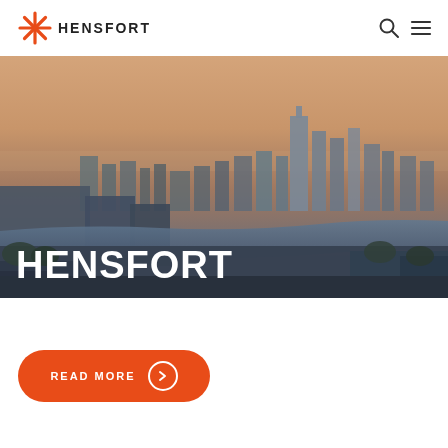[Figure (logo): Hensfort logo with orange starburst/asterisk icon and HENSFORT text in dark bold letters]
[Figure (photo): Aerial panoramic view of London cityscape with the Thames river, city towers including Canary Wharf, at sunset/dusk with warm orange and purple sky tones]
HENSFORT
READ MORE